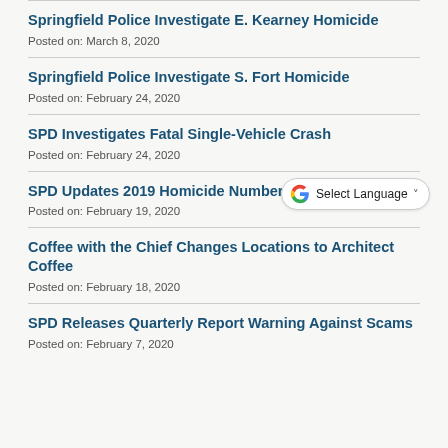Springfield Police Investigate E. Kearney Homicide
Posted on: March 8, 2020
Springfield Police Investigate S. Fort Homicide
Posted on: February 24, 2020
SPD Investigates Fatal Single-Vehicle Crash
Posted on: February 24, 2020
SPD Updates 2019 Homicide Numbers
Posted on: February 19, 2020
Coffee with the Chief Changes Locations to Architect Coffee
Posted on: February 18, 2020
SPD Releases Quarterly Report Warning Against Scams
Posted on: February 7, 2020